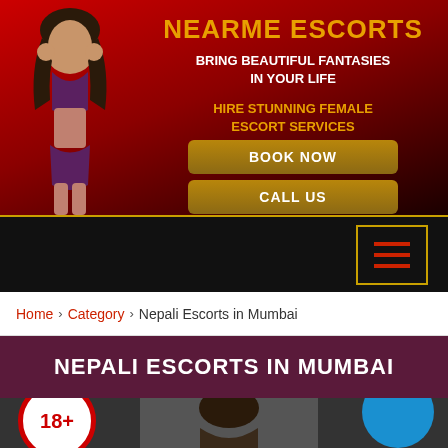NEARME ESCORTS
BRING BEAUTIFUL FANTASIES IN YOUR LIFE
HIRE STUNNING FEMALE ESCORT SERVICES
BOOK NOW
CALL US
[Figure (illustration): Silhouette of a woman in bikini against red-to-black gradient background]
[Figure (illustration): Hamburger menu icon inside a gold-bordered square]
Home › Category › Nepali Escorts in Mumbai
NEPALI ESCORTS IN MUMBAI
[Figure (photo): 18+ age badge on left, photo of woman in center, blue circle on right, bottom image strip]